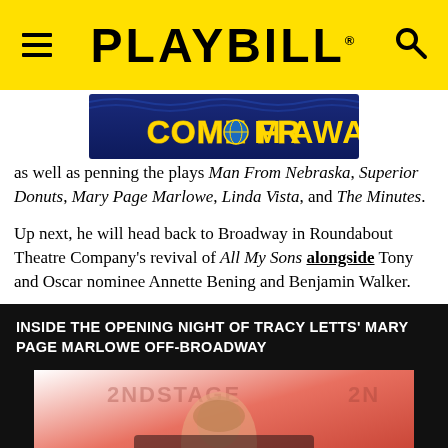PLAYBILL
[Figure (logo): Come From Away musical logo banner — yellow text on blue background]
as well as penning the plays Man From Nebraska, Superior Donuts, Mary Page Marlowe, Linda Vista, and The Minutes.
Up next, he will head back to Broadway in Roundabout Theatre Company's revival of All My Sons alongside Tony and Oscar nominee Annette Bening and Benjamin Walker.
INSIDE THE OPENING NIGHT OF TRACY LETTS' MARY PAGE MARLOWE OFF-BROADWAY
[Figure (photo): 2nd Stage Theatre promotional image showing a woman's face with 2NDSTAGE branding, red and pink gradient background]